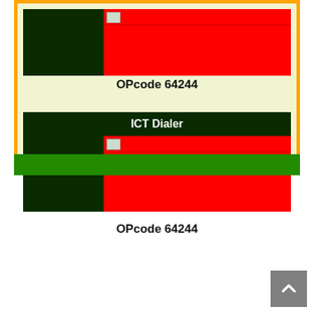[Figure (screenshot): First app card: dark green left panel with red right panel containing a broken image icon, no header text]
OPcode 64244
[Figure (screenshot): Second app card: dark green header labeled 'ICT Dialer', dark green left panel with red right panel containing a broken image icon]
OPcode 64244